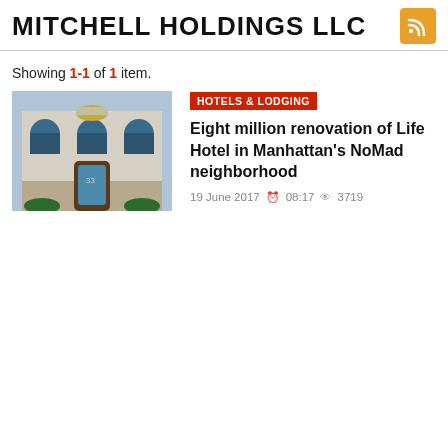MITCHELL HOLDINGS LLC
Showing 1-1 of 1 item.
[Figure (photo): Exterior photo of a grand hotel building with ornate facade, arched windows, and entrance]
HOTELS & LODGING
Eight million renovation of Life Hotel in Manhattan's NoMad neighborhood
19 June 2017  08:17  3719